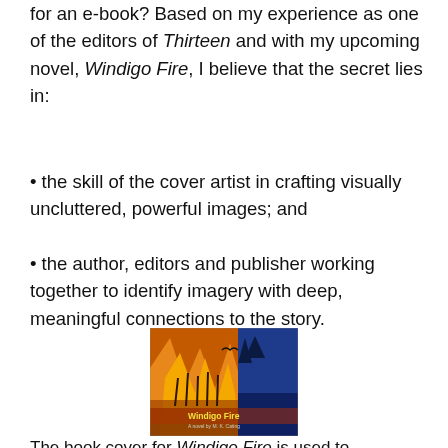for an e-book? Based on my experience as one of the editors of Thirteen and with my upcoming novel, Windigo Fire, I believe that the secret lies in:
• the skill of the cover artist in crafting visually uncluttered, powerful images; and
• the author, editors and publisher working together to identify imagery with deep, meaningful connections to the story.
[Figure (photo): Book cover of Windigo Fire showing a dramatic fire scene with flames and dark blue sky, with text 'Windigo Fire' at the bottom]
The book cover for Windigo Fire is used to...